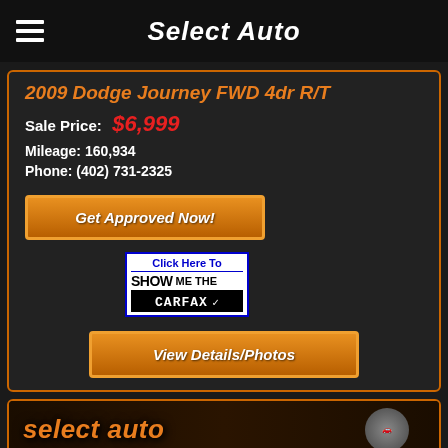Select Auto
2009 Dodge Journey FWD 4dr R/T
Sale Price: $6,999
Mileage: 160,934
Phone: (402) 731-2325
Get Approved Now!
[Figure (logo): Click Here To SHOW ME THE CARFAX badge]
View Details/Photos
[Figure (photo): Select Auto dealership logo and storefront photo]